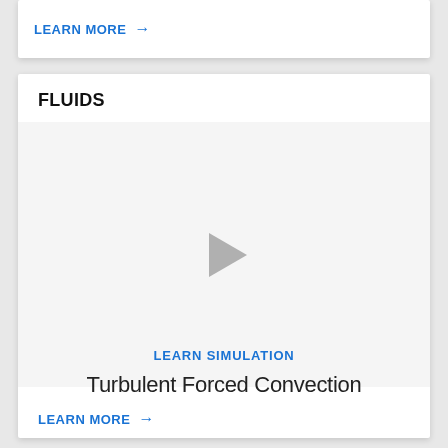LEARN MORE →
FLUIDS
[Figure (other): Video thumbnail placeholder with a gray play button triangle in the center, white background]
LEARN SIMULATION
Turbulent Forced Convection
LEARN MORE →